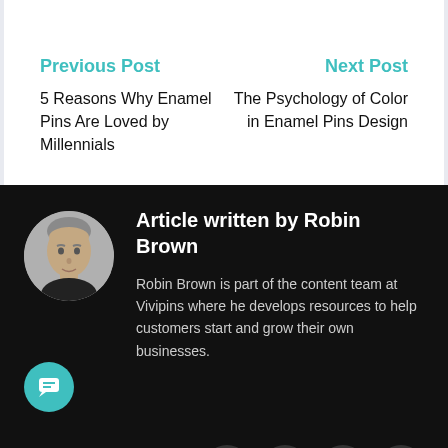Previous Post
5 Reasons Why Enamel Pins Are Loved by Millennials
Next Post
The Psychology of Color in Enamel Pins Design
[Figure (photo): Circular portrait photo of Robin Brown, a middle-aged man with short grey hair wearing a dark shirt, on a black background.]
Article written by Robin Brown
Robin Brown is part of the content team at Vivipins where he develops resources to help customers start and grow their own businesses.
[Figure (infographic): Row of four circular social media icon buttons (Facebook, Twitter/X, LinkedIn, YouTube) in dark grey on black background, partially visible at bottom of page.]